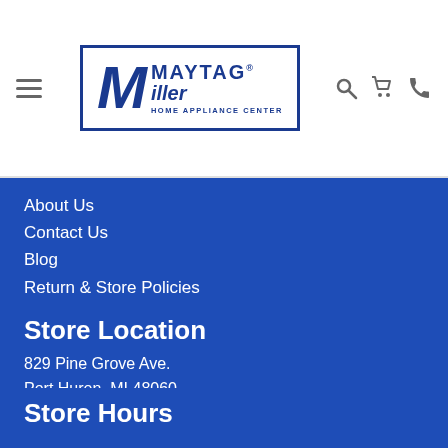[Figure (logo): Miller Maytag Home Appliance Center logo with blue border, stylized M, Maytag wordmark, and Miller text]
About Us
Contact Us
Blog
Return & Store Policies
Store Location
829 Pine Grove Ave.
Port Huron, MI 48060
Phone: 810-984-4904
Email: sales@millermaytag.com
Store Hours